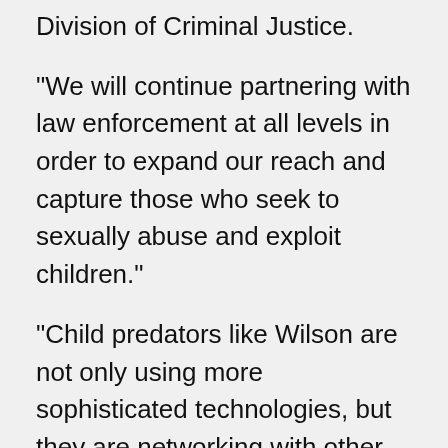Division of Criminal Justice.
“We will continue partnering with law enforcement at all levels in order to expand our reach and capture those who seek to sexually abuse and exploit children.”
“Child predators like Wilson are not only using more sophisticated technologies, but they are networking with other abusers in order to find their next victim,” said Colonel Patrick J. Callahan, Superintendent of the New Jersey State Police.
“The New Jersey State Police and our partners will continue to work together to ensure that